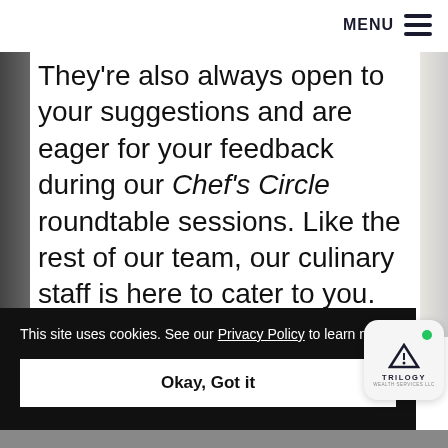MENU
They’re also always open to your suggestions and are eager for your feedback during our Chef’s Circle roundtable sessions. Like the rest of our team, our culinary staff is here to cater to you.
This site uses cookies. See our Privacy Policy to learn more.
Okay, Got it